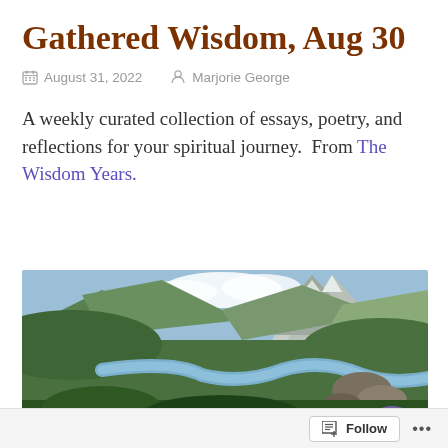Gathered Wisdom, Aug 30
August 31, 2022   Marjorie George
A weekly curated collection of essays, poetry, and reflections for your spiritual journey.  From The Wisdom Years.
[Figure (photo): Mountain valley landscape with a stream flowing through green meadows, mountains with snow in background, person's hand visible in foreground]
Follow ...